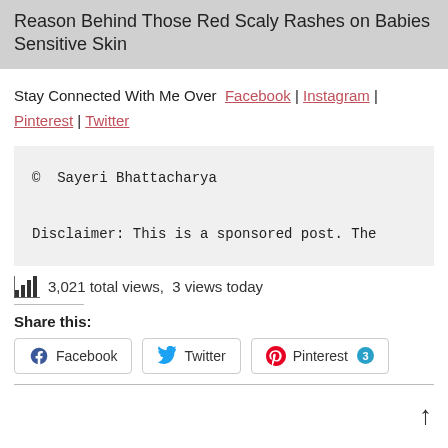Reason Behind Those Red Scaly Rashes on Babies Sensitive Skin
Stay Connected With Me Over  Facebook | Instagram | Pinterest | Twitter
© Sayeri Bhattacharya

Disclaimer: This is a sponsored post. The
3,021 total views,  3 views today
Share this:
Facebook  Twitter  Pinterest 3